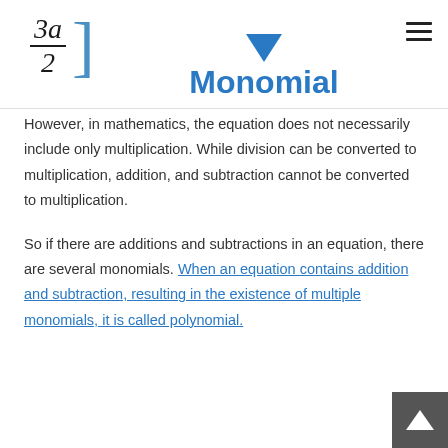Monomial
However, in mathematics, the equation does not necessarily include only multiplication. While division can be converted to multiplication, addition, and subtraction cannot be converted to multiplication.
So if there are additions and subtractions in an equation, there are several monomials. When an equation contains addition and subtraction, resulting in the existence of multiple monomials, it is called polynomial.